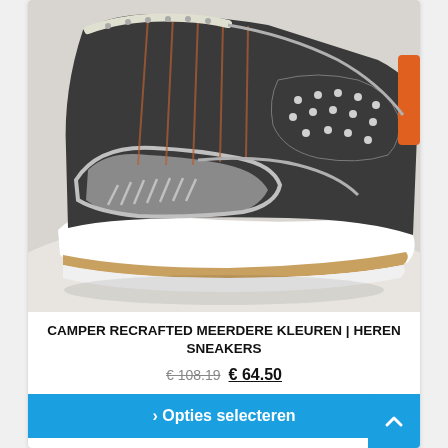[Figure (photo): Close-up photo of a Camper Recrafted sneaker shoe in dark gray/charcoal with white sole, light gray panels, orange accent stitching, dotted texture panel, and orange heel tab. White background.]
CAMPER RECRAFTED MEERDERE KLEUREN | HEREN SNEAKERS
€ 108.19  € 64.50
> Opties selecteren